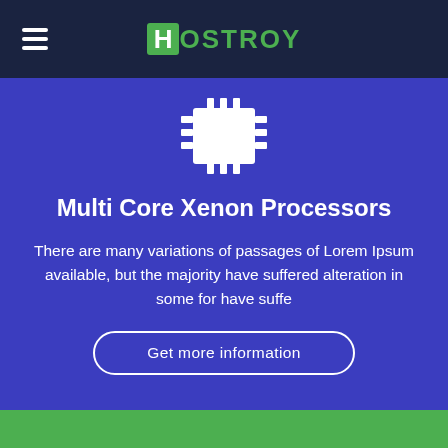HOSTROY
[Figure (illustration): CPU/chip icon with white square body and pin connectors on sides, on blue background]
Multi Core Xenon Processors
There are many variations of passages of Lorem Ipsum available, but the majority have suffered alteration in some for have suffe
Get more information